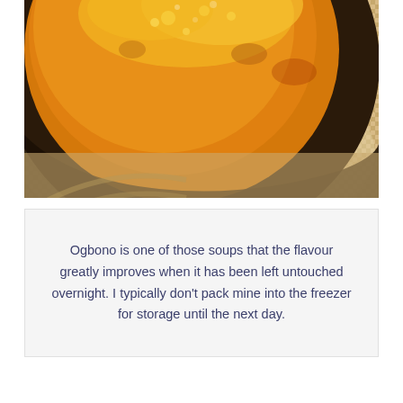[Figure (photo): Overhead close-up photograph of a dark wooden bowl filled with bright orange-yellow Ogbono soup, placed on a woven straw mat/placemat. The soup has a glossy, oily surface with bubbles. The bowl rim and woven texture of the mat are visible.]
Ogbono is one of those soups that the flavour greatly improves when it has been left untouched overnight. I typically don't pack mine into the freezer for storage until the next day.